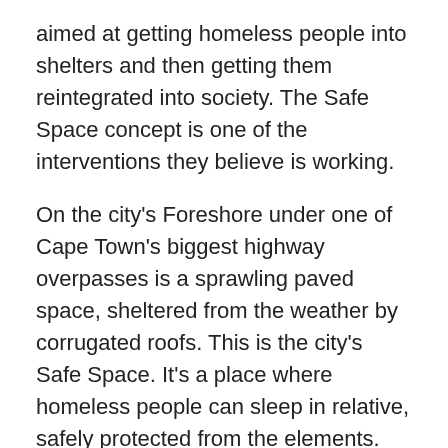aimed at getting homeless people into shelters and then getting them reintegrated into society. The Safe Space concept is one of the interventions they believe is working.
On the city's Foreshore under one of Cape Town's biggest highway overpasses is a sprawling paved space, sheltered from the weather by corrugated roofs. This is the city's Safe Space. It's a place where homeless people can sleep in relative, safely protected from the elements.
Craig Du Plooy (37) is a volunteer here but for nine months he slept here most nights. Before that, he was on the streets and using drugs.
“I was roaming out on the streets, asking people for money to support my habit and for food or whatever the case may be. I have come through a bad space and it’s all about me and